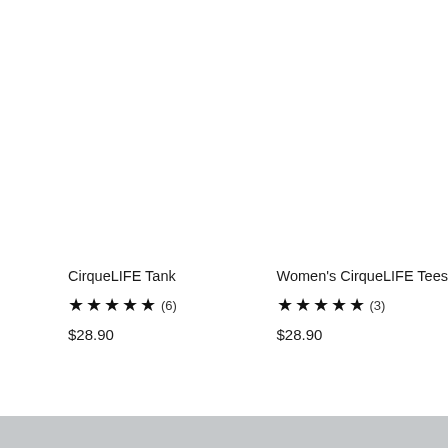CirqueLIFE Tank
★★★★★ (6)
$28.90
Women's CirqueLIFE Tees
★★★★★ (3)
$28.90